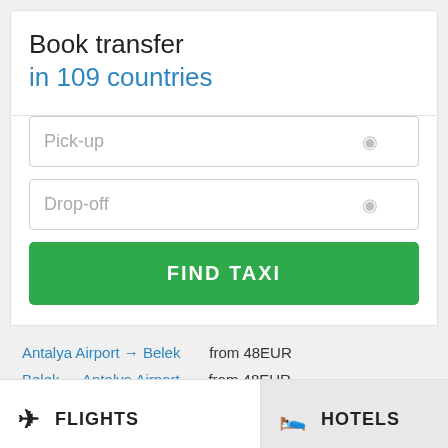Book transfer
in 109 countries
Pick-up
Drop-off
FIND TAXI
Antalya Airport → Belek    from 48EUR
Belek → Antalya Airport    from 48EUR
Charles de Gaulle Airport Paris → Paris    from 72EUR
FLIGHTS
HOTELS